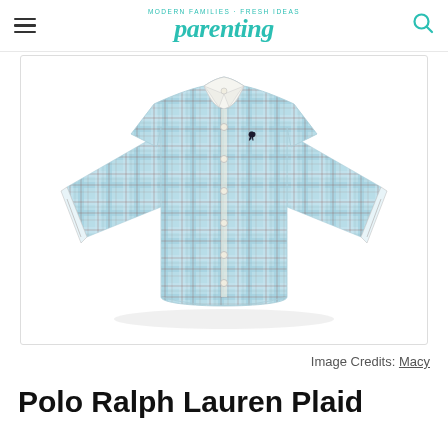parenting — MODERN FAMILIES · FRESH IDEAS
[Figure (photo): A light blue plaid long-sleeve button-down shirt by Polo Ralph Lauren, displayed flat on a white background. The shirt features a blue, white, and reddish-brown plaid pattern, button-down collar, and the Polo Ralph Lauren pony logo embroidered on the chest.]
Image Credits: Macy
Polo Ralph Lauren Plaid